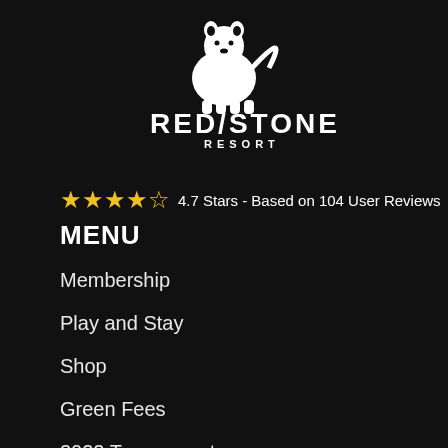[Figure (logo): Redstone Resort logo — white bear/fox silhouette with curved tail above the text RED STONE RESORT in white capital letters on black background]
★★★★✩ 4.7 Stars - Based on 104 User Reviews
MENU
Membership
Play and Stay
Shop
Green Fees
2022 Tournaments
Blog